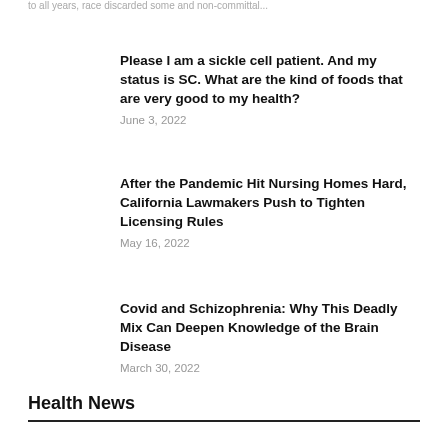to all years, race discarded some and non-committal...
Please I am a sickle cell patient. And my status is SC. What are the kind of foods that are very good to my health?
June 3, 2022
After the Pandemic Hit Nursing Homes Hard, California Lawmakers Push to Tighten Licensing Rules
May 16, 2022
Covid and Schizophrenia: Why This Deadly Mix Can Deepen Knowledge of the Brain Disease
March 30, 2022
Health News